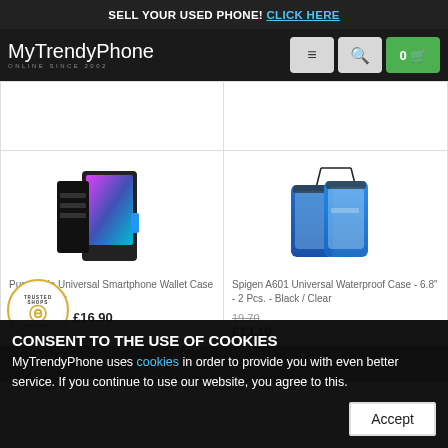SELL YOUR USED PHONE! CLICK HERE
[Figure (logo): MyTrendyPhone logo - white text on dark background, 'ONLINE SINCE 2002' subtitle]
[Figure (photo): Puro Slide Universal Smartphone Wallet Case - XXL - Black product photo]
Puro Slide Universal Smartphone Wallet Case - XXL - Black
£16.90
[Figure (photo): Spigen A601 Universal Waterproof Case - 6.8 - 2 Pcs. - Black / Clear product photo]
Spigen A601 Universal Waterproof Case - 6.8" - 2 Pcs. - Black / Clear
19.70
£13.10
CONSENT TO THE USE OF COOKIES
MyTrendyPhone uses cookies in order to provide you with even better service. If you continue to use our website, you agree to this.
Accept